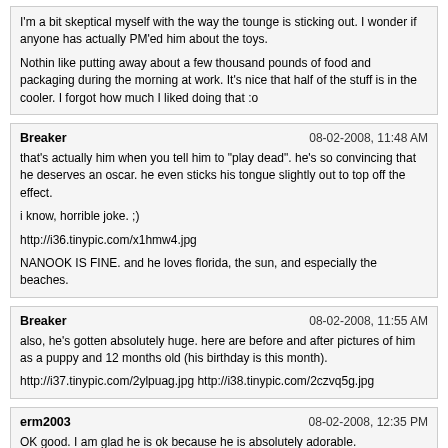I'm a bit skeptical myself with the way the tounge is sticking out. I wonder if anyone has actually PM'ed him about the toys.

Nothin like putting away about a few thousand pounds of food and packaging during the morning at work. It's nice that half of the stuff is in the cooler. I forgot how much I liked doing that :o
Breaker | 08-02-2008, 11:48 AM
that's actually him when you tell him to "play dead". he's so convincing that he deserves an oscar. he even sticks his tongue slightly out to top off the effect.

i know, horrible joke. ;)

http://i36.tinypic.com/x1hmw4.jpg

NANOOK IS FINE. and he loves florida, the sun, and especially the beaches.
Breaker | 08-02-2008, 11:55 AM
also, he's gotten absolutely huge. here are before and after pictures of him as a puppy and 12 months old (his birthday is this month).

http://i37.tinypic.com/2ylpuag.jpg http://i38.tinypic.com/2czvq5g.jpg
erm2003 | 08-02-2008, 12:35 PM
OK good. I am glad he is ok because he is absolutely adorable.
Powered by vBulletin® Version 4.2.5 Copyright © 2022 vBulletin Solutions Inc. All rights reserved.